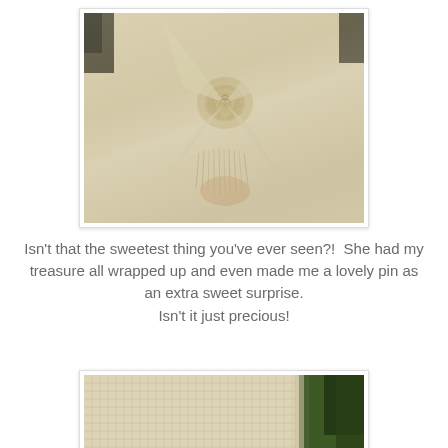[Figure (photo): Close-up photo of a cream/ivory burlap fabric wrapped like a gift or pouch, with a handmade fabric rose pin in the center, frayed edges visible, soft warm lighting.]
Isn't that the sweetest thing you've ever seen?!  She had my treasure all wrapped up and even made me a lovely pin as an extra sweet surprise.
Isn't it just precious!
[Figure (photo): Close-up photo of cream/ivory burlap or woven textile fabric with green foliage visible at the right edge, similar material to the first photo.]